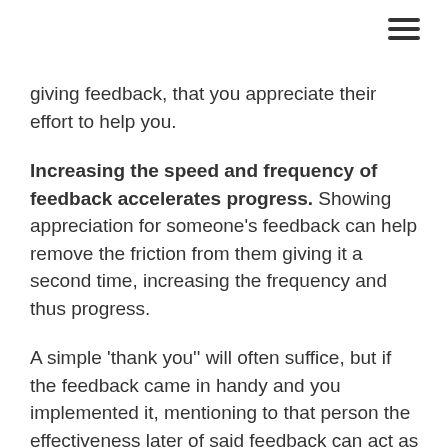giving feedback, that you appreciate their effort to help you.
Increasing the speed and frequency of feedback accelerates progress. Showing appreciation for someone's feedback can help remove the friction from them giving it a second time, increasing the frequency and thus progress.
A simple 'thank you'' will often suffice, but if the feedback came in handy and you implemented it, mentioning to that person the effectiveness later of said feedback can act as a reminder of how helpful their feedback was.